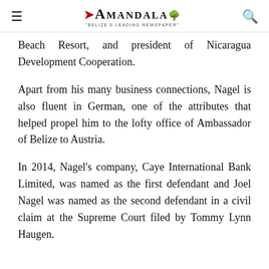AMANDALA — "Belize's Leading Newspaper"
Beach Resort, and president of Nicaragua Development Cooperation.
Apart from his many business connections, Nagel is also fluent in German, one of the attributes that helped propel him to the lofty office of Ambassador of Belize to Austria.
In 2014, Nagel's company, Caye International Bank Limited, was named as the first defendant and Joel Nagel was named as the second defendant in a civil claim at the Supreme Court filed by Tommy Lynn Haugen.